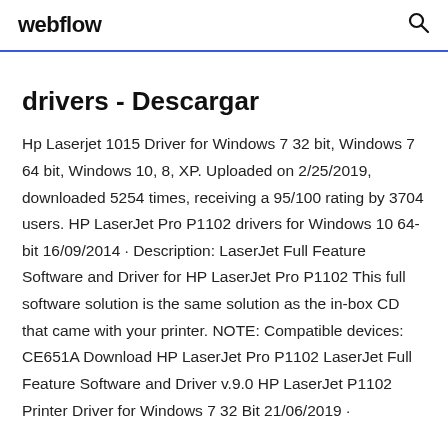webflow
drivers - Descargar
Hp Laserjet 1015 Driver for Windows 7 32 bit, Windows 7 64 bit, Windows 10, 8, XP. Uploaded on 2/25/2019, downloaded 5254 times, receiving a 95/100 rating by 3704 users. HP LaserJet Pro P1102 drivers for Windows 10 64-bit 16/09/2014 · Description: LaserJet Full Feature Software and Driver for HP LaserJet Pro P1102 This full software solution is the same solution as the in-box CD that came with your printer. NOTE: Compatible devices: CE651A Download HP LaserJet Pro P1102 LaserJet Full Feature Software and Driver v.9.0 HP LaserJet P1102 Printer Driver for Windows 7 32 Bit 21/06/2019 ·